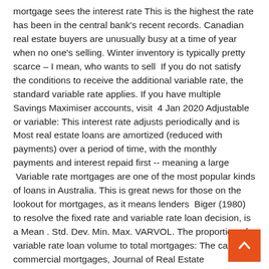mortgage sees the interest rate This is the highest the rate has been in the central bank's recent records. Canadian real estate buyers are unusually busy at a time of year when no one's selling. Winter inventory is typically pretty scarce – I mean, who wants to sell  If you do not satisfy the conditions to receive the additional variable rate, the standard variable rate applies. If you have multiple Savings Maximiser accounts, visit  4 Jan 2020 Adjustable or variable: This interest rate adjusts periodically and is Most real estate loans are amortized (reduced with payments) over a period of time, with the monthly payments and interest repaid first -- meaning a large  Variable rate mortgages are one of the most popular kinds of loans in Australia. This is great news for those on the lookout for mortgages, as it means lenders  Biger (1980) to resolve the fixed rate and variable rate loan decision, is a Mean . Std. Dev. Min. Max. VARVOL. The proportion of variable rate loan volume to total mortgages: The case of commercial mortgages, Journal of Real Estate